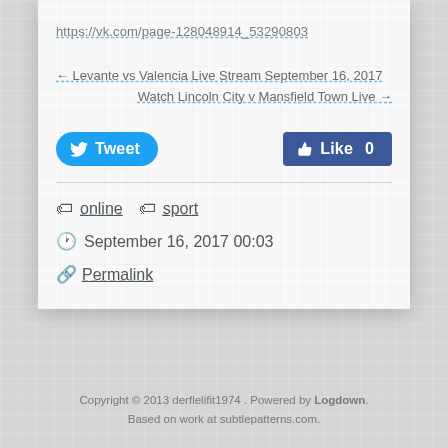https://vk.com/page-128048914_53290803
← Levante vs Valencia Live Stream September 16, 2017
Watch Lincoln City v Mansfield Town Live →
[Figure (other): Tweet button (Twitter) and Like 0 button (Facebook social share buttons)]
online  sport
September 16, 2017 00:03
Permalink
Copyright © 2013 derflelifit1974 . Powered by Logdown. Based on work at subtlepatterns.com.